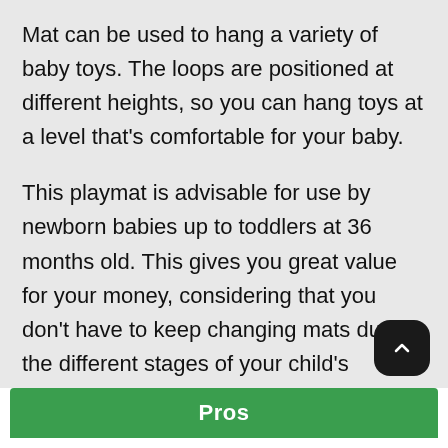Mat can be used to hang a variety of baby toys. The loops are positioned at different heights, so you can hang toys at a level that's comfortable for your baby.
This playmat is advisable for use by newborn babies up to toddlers at 36 months old. This gives you great value for your money, considering that you don't have to keep changing mats during the different stages of your child's growth.
Pros